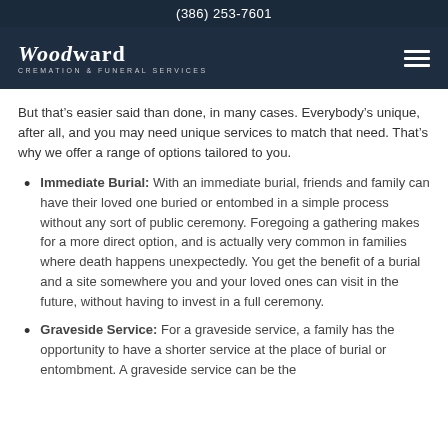(386) 253-7601
[Figure (logo): Woodward Cremation & Funeral Services logo in white text on dark navy background, with hamburger menu icon on right]
But that’s easier said than done, in many cases. Everybody’s unique, after all, and you may need unique services to match that need. That’s why we offer a range of options tailored to you.
Immediate Burial: With an immediate burial, friends and family can have their loved one buried or entombed in a simple process without any sort of public ceremony. Foregoing a gathering makes for a more direct option, and is actually very common in families where death happens unexpectedly. You get the benefit of a burial and a site somewhere you and your loved ones can visit in the future, without having to invest in a full ceremony.
Graveside Service: For a graveside service, a family has the opportunity to have a shorter service at the place of burial or entombment. A graveside service can be the